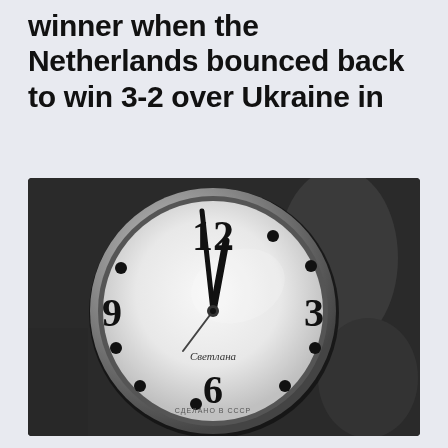winner when the Netherlands bounced back to win 3-2 over Ukraine in
[Figure (photo): Black and white photograph of a round analog alarm clock (Soviet 'Svetlana' brand, marked СДЕЛАНО В СССР) showing the time approximately 11:58, with a white clock face displaying numerals 12, 3, 6, 9 and dot markers, set against a dark background.]